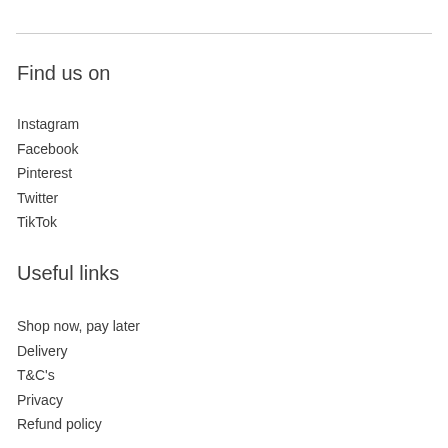Find us on
Instagram
Facebook
Pinterest
Twitter
TikTok
Useful links
Shop now, pay later
Delivery
T&C's
Privacy
Refund policy